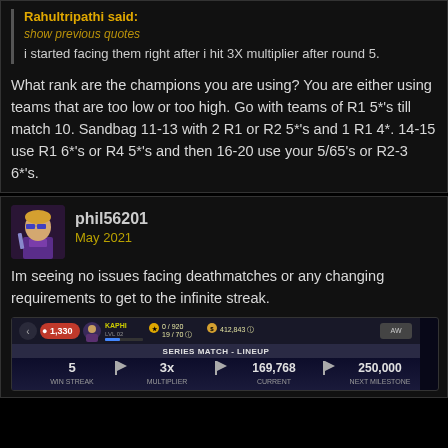Rahultripathi said: show previous quotes — i started facing them right after i hit 3X multiplier after round 5.
What rank are the champions you are using? You are either using teams that are too low or too high. Go with teams of R1 5*'s till match 10. Sandbag 11-13 with 2 R1 or R2 5*'s and 1 R1 4*. 14-15 use R1 6*'s or R4 5*'s and then 16-20 use your 5/65's or R2-3 6*'s.
phil56201
May 2021
Im seeing no issues facing deathmatches or any changing requirements to get to the infinite streak.
[Figure (screenshot): In-game series match lineup screen showing WIN STREAK: 5, MULTIPLIER: 3x, CURRENT: 169,768, NEXT MILESTONE: 250,000. HUD also shows streak counter 1,330 and player info.]